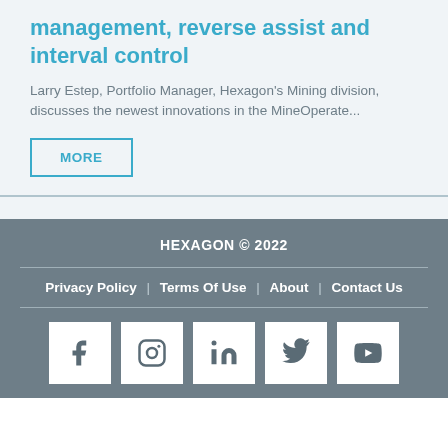management, reverse assist and interval control
Larry Estep, Portfolio Manager, Hexagon's Mining division, discusses the newest innovations in the MineOperate...
MORE
HEXAGON © 2022
Privacy Policy | Terms Of Use | About | Contact Us
[Figure (other): Social media icons: Facebook, Instagram, LinkedIn, Twitter, YouTube]